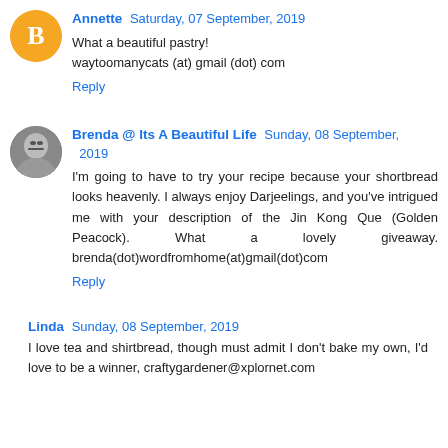Annette Saturday, 07 September, 2019
What a beautiful pastry!
waytoomanycats (at) gmail (dot) com
Reply
Brenda @ Its A Beautiful Life Sunday, 08 September, 2019
I'm going to have to try your recipe because your shortbread looks heavenly. I always enjoy Darjeelings, and you've intrigued me with your description of the Jin Kong Que (Golden Peacock). What a lovely giveaway. brenda(dot)wordfromhome(at)gmail(dot)com
Reply
Linda Sunday, 08 September, 2019
I love tea and shirtbread, though must admit I don't bake my own, I'd love to be a winner, craftygardener@xplornet.com